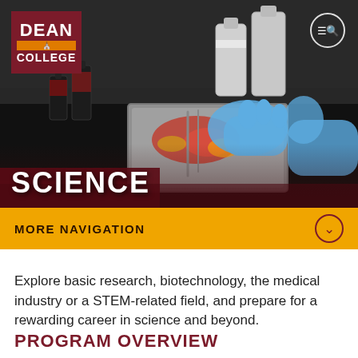[Figure (photo): Lab scene with blue-gloved hands working with specimens in a metal tray, surrounded by chemical bottles on a dark table]
SCIENCE
MORE NAVIGATION
Explore basic research, biotechnology, the medical industry or a STEM-related field, and prepare for a rewarding career in science and beyond.
PROGRAM OVERVIEW